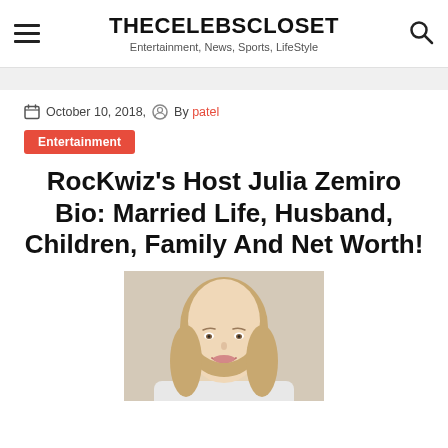THECELEBSCLOSET — Entertainment, News, Sports, LifeStyle
October 10, 2018,   By patel
Entertainment
RocKwiz's Host Julia Zemiro Bio: Married Life, Husband, Children, Family And Net Worth!
[Figure (photo): Portrait photo of Julia Zemiro, a woman with long blonde hair, smiling, cropped at the shoulders]